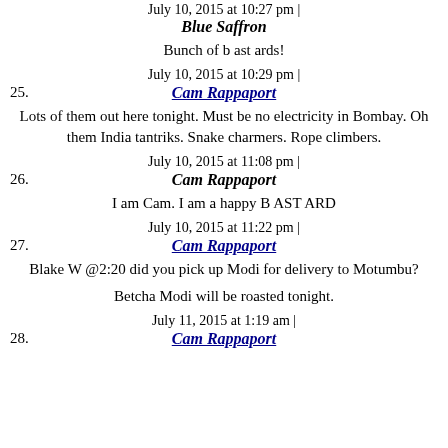July 10, 2015 at 10:27 pm |
24. Blue Saffron
Bunch of b ast ards!
July 10, 2015 at 10:29 pm |
25. Cam Rappaport
Lots of them out here tonight. Must be no electricity in Bombay. Oh them India tantriks. Snake charmers. Rope climbers.
July 10, 2015 at 11:08 pm |
26. Cam Rappaport
I am Cam. I am a happy B AST ARD
July 10, 2015 at 11:22 pm |
27. Cam Rappaport
Blake W @2:20 did you pick up Modi for delivery to Motumbu?
Betcha Modi will be roasted tonight.
July 11, 2015 at 1:19 am |
28. Cam Rappaport